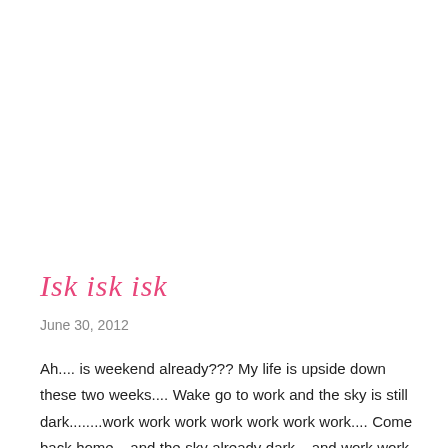Isk isk isk
June 30, 2012
Ah.... is weekend already??? My life is upside down these two weeks.... Wake go to work and the sky is still dark........work work work work work work work.... Come back home....and the sky already dark....and work work work work.... Meal??? isk isk.. fe ...